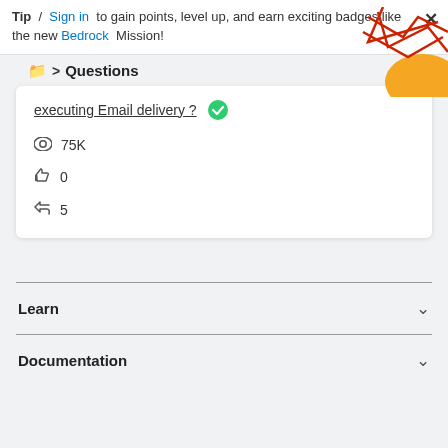Tip / Sign in to gain points, level up, and earn exciting badges like the new Bedrock Mission!
Questions
executing Email delivery? [answered]
75K views
0 likes
5 answers
Learn
Documentation